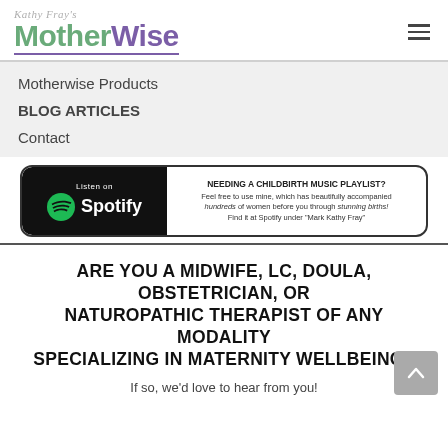Kathy Fray's MotherWise
Motherwise Products
BLOG ARTICLES
Contact
[Figure (infographic): Spotify banner: Listen on Spotify logo on black background. Text reads: NEEDING A CHILDBIRTH MUSIC PLAYLIST? Feel free to use mine, which has beautifully accompanied hundreds of women before you through stunning births! Find it at Spotify under "Mark Kathy Fray"]
ARE YOU A MIDWIFE, LC, DOULA, OBSTETRICIAN, OR NATUROPATHIC THERAPIST OF ANY MODALITY SPECIALIZING IN MATERNITY WELLBEING?
If so, we'd love to hear from you!